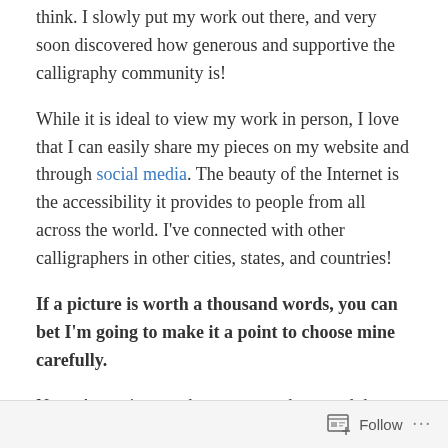think. I slowly put my work out there, and very soon discovered how generous and supportive the calligraphy community is!
While it is ideal to view my work in person, I love that I can easily share my pieces on my website and through social media. The beauty of the Internet is the accessibility it provides to people from all across the world. I've connected with other calligraphers in other cities, states, and countries!
If a picture is worth a thousand words, you can bet I'm going to make it a point to choose mine carefully.
Note: Assuming you have a smartphone and that you use Instagram, this post will provide some easy tips for
Follow